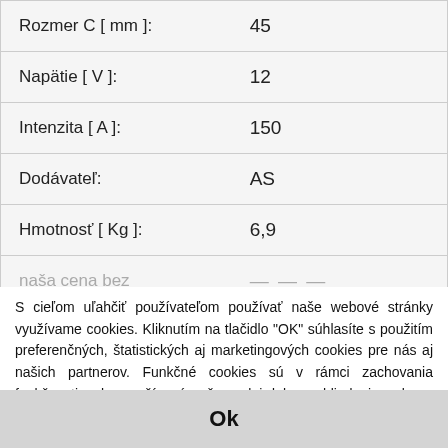| Parameter | Value |
| --- | --- |
| Rozmer C [ mm ]: | 45 |
| Napätie [ V ]: | 12 |
| Intenzita [ A ]: | 150 |
| Dodávateľ: | AS |
| Hmotnosť [ Kg ]: | 6,9 |
| naša cena bez | ... |
S cieľom uľahčiť používateľom používať naše webové stránky využívame cookies. Kliknutím na tlačidlo "OK" súhlasíte s použitím preferenčných, štatistických aj marketingových cookies pre nás aj našich partnerov. Funkčné cookies sú v rámci zachovania funkčnosti webu používané počas celej doby prehliadania webom. Podrobné informácie a nastavenia ku cookies nájdete tu.
Ok